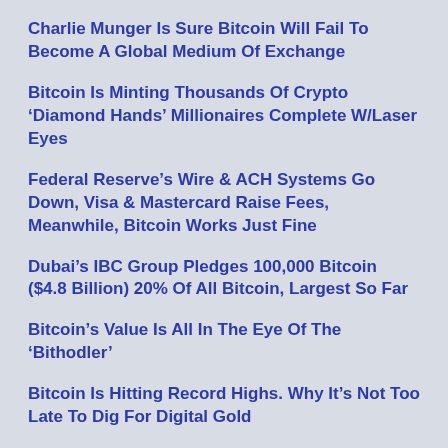Charlie Munger Is Sure Bitcoin Will Fail To Become A Global Medium Of Exchange
Bitcoin Is Minting Thousands Of Crypto ‘Diamond Hands’ Millionaires Complete W/Laser Eyes
Federal Reserve’s Wire & ACH Systems Go Down, Visa & Mastercard Raise Fees, Meanwhile, Bitcoin Works Just Fine
Dubai’s IBC Group Pledges 100,000 Bitcoin ($4.8 Billion) 20% Of All Bitcoin, Largest So Far
Bitcoin’s Value Is All In The Eye Of The ‘Bithodler’
Bitcoin Is Hitting Record Highs. Why It’s Not Too Late To Dig For Digital Gold
$56.3K Bitcoin Price And $1Trillion Market Cap Signal BTC